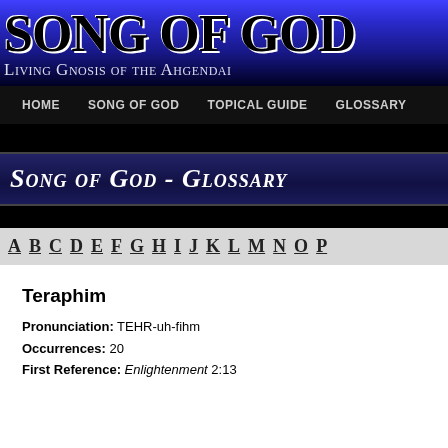SONG OF GOD
Living Gnosis of the Ahgendai
HOME   SONG OF GOD   TOPICAL GUIDE   GLOSSARY
Song of God - Glossary
A B C D E F G H I J K L M N O P
Teraphim
Pronunciation:  TEHR-uh-fihm
Occurrences:  20
First Reference:  Enlightenment 2:13